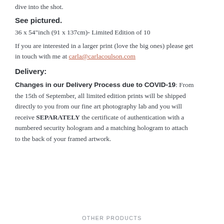dive into the shot.
See pictured.
36 x 54"inch (91 x 137cm)- Limited Edition of 10
If you are interested in a larger print (love the big ones) please get in touch with me at carla@carlacoulson.com
Delivery:
Changes in our Delivery Process due to COVID-19: From the 15th of September, all limited edition prints will be shipped directly to you from our fine art photography lab and you will receive SEPARATELY the certificate of authentication with a numbered security hologram and a matching hologram to attach to the back of your framed artwork.
OTHER PRODUCTS